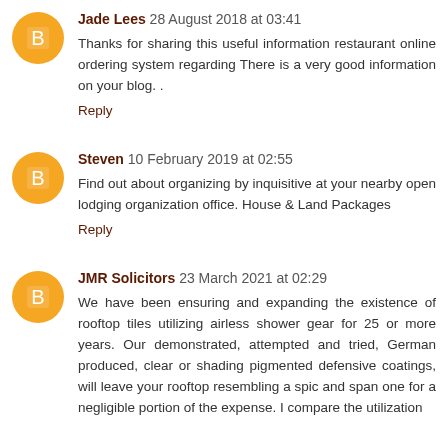Jade Lees 28 August 2018 at 03:41
Thanks for sharing this useful information restaurant online ordering system regarding There is a very good information on your blog. .
Reply
Steven 10 February 2019 at 02:55
Find out about organizing by inquisitive at your nearby open lodging organization office. House & Land Packages
Reply
JMR Solicitors 23 March 2021 at 02:29
We have been ensuring and expanding the existence of rooftop tiles utilizing airless shower gear for 25 or more years. Our demonstrated, attempted and tried, German produced, clear or shading pigmented defensive coatings, will leave your rooftop resembling a spic and span one for a negligible portion of the expense. I compare the utilization